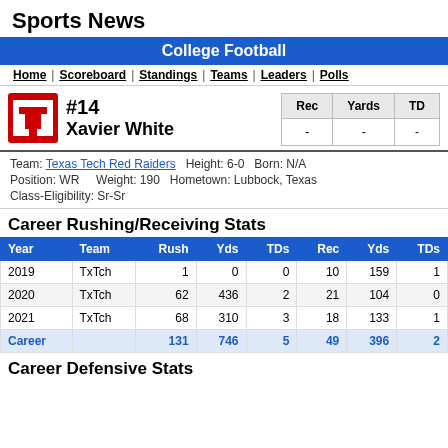Sports News
College Football
Home | Scoreboard | Standings | Teams | Leaders | Polls
#14 Xavier White — Rec: - Yards: - TD: -
Team: Texas Tech Red Raiders  Height: 6-0  Born: N/A
Position: WR  Weight: 190  Hometown: Lubbock, Texas
Class-Eligibility: Sr-Sr
Career Rushing/Receiving Stats
| Year | Team | Rush | Yds | TDs | Rec | Yds | TDs |
| --- | --- | --- | --- | --- | --- | --- | --- |
| 2019 | TxTch | 1 | 0 | 0 | 10 | 159 | 1 |
| 2020 | TxTch | 62 | 436 | 2 | 21 | 104 | 0 |
| 2021 | TxTch | 68 | 310 | 3 | 18 | 133 | 1 |
| Career |  | 131 | 746 | 5 | 49 | 396 | 2 |
Career Defensive Stats